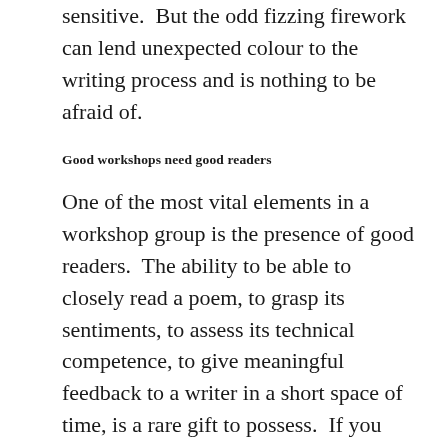sensitive.  But the odd fizzing firework can lend unexpected colour to the writing process and is nothing to be afraid of.
Good workshops need good readers
One of the most vital elements in a workshop group is the presence of good readers.  The ability to be able to closely read a poem, to grasp its sentiments, to assess its technical competence, to give meaningful feedback to a writer in a short space of time, is a rare gift to possess.  If you find someone who displays all or most of these attributes, keep them close.  Try and sit next to them in a workshop, follow them around (if they belong to more than one group –